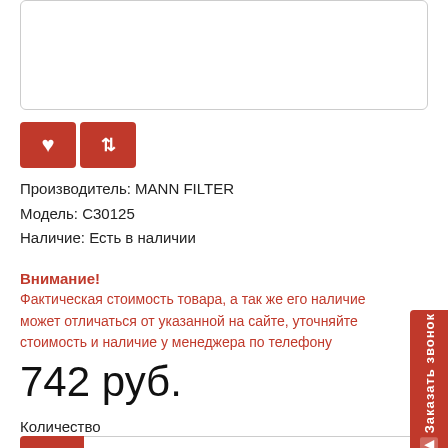[Figure (photo): Product image box (partially visible, white background with border)]
[Figure (other): Action buttons: red heart/favorite button and red compare button]
Производитель: MANN FILTER
Модель: C30125
Наличие: Есть в наличии
Внимание!
Фактическая стоимость товара, а так же его наличие может отличаться от указанной на сайте, уточняйте стоимость и наличие у менеджера по телефону
742 руб.
Количество
−  1
Заказать звонок